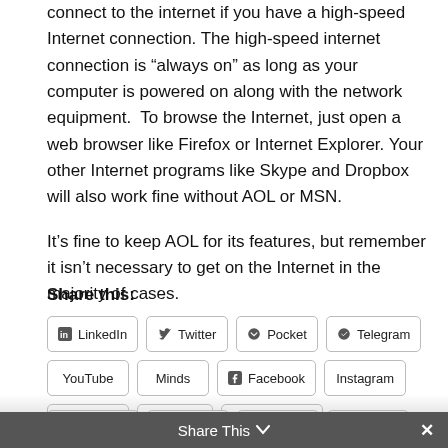connect to the internet if you have a high-speed Internet connection. The high-speed internet connection is “always on” as long as your computer is powered on along with the network equipment.  To browse the Internet, just open a web browser like Firefox or Internet Explorer. Your other Internet programs like Skype and Dropbox will also work fine without AOL or MSN.

It’s fine to keep AOL for its features, but remember it isn’t necessary to get on the Internet in the majority of cases.
Share this:
LinkedIn
Twitter
Pocket
Telegram
YouTube
Minds
Facebook
Instagram
Snapchat
MySpace
WhatsApp
Pinterest
Rumble
Gab
Email
Share This